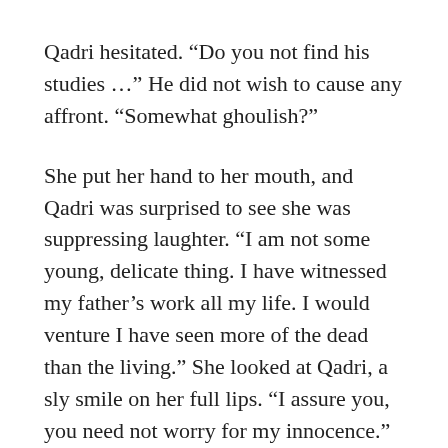Qadri hesitated. “Do you not find his studies …” He did not wish to cause any affront. “Somewhat ghoulish?”
She put her hand to her mouth, and Qadri was surprised to see she was suppressing laughter. “I am not some young, delicate thing. I have witnessed my father’s work all my life. I would venture I have seen more of the dead than the living.” She looked at Qadri, a sly smile on her full lips. “I assure you, you need not worry for my innocence.” She slipped her hand in his. “Or are you one of the religious types who deem such activities to be blasphemy?”
A part of him did, but he would never admit it and risk her taking away the glorious feel of her